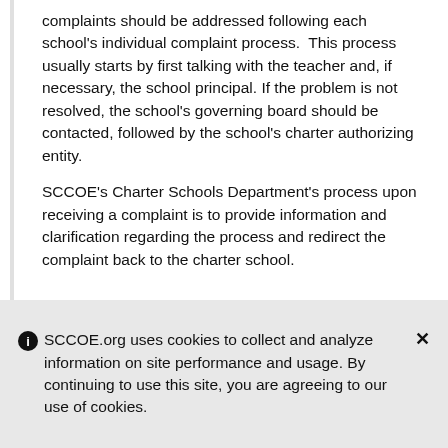complaints should be addressed following each school's individual complaint process.  This process usually starts by first talking with the teacher and, if necessary, the school principal. If the problem is not resolved, the school's governing board should be contacted, followed by the school's charter authorizing entity.
SCCOE's Charter Schools Department's process upon receiving a complaint is to provide information and clarification regarding the process and redirect the complaint back to the charter school.
SCCOE.org uses cookies to collect and analyze information on site performance and usage. By continuing to use this site, you are agreeing to our use of cookies.